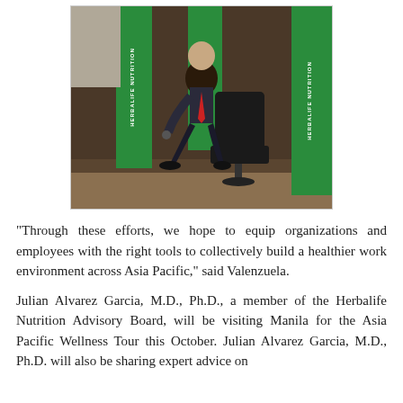[Figure (photo): A man in a dark suit sitting on a chair on a stage at a Herbalife Nutrition event, with green Herbalife Nutrition branded banners/pull-up stands visible in the background.]
“Through these efforts, we hope to equip organizations and employees with the right tools to collectively build a healthier work environment across Asia Pacific,” said Valenzuela.
Julian Alvarez Garcia, M.D., Ph.D., a member of the Herbalife Nutrition Advisory Board, will be visiting Manila for the Asia Pacific Wellness Tour this October. Julian Alvarez Garcia, M.D., Ph.D. will also be sharing expert advice on